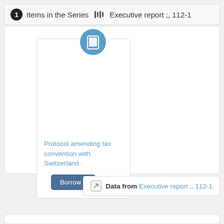1 Items in the Series ||| Executive report ;, 112-1
[Figure (screenshot): Card showing a tablet device icon in a blue circle, with text 'Protocol amending tax convention with Switzerland :' and a 'Borrow it' button]
Protocol amending tax convention with Switzerland :
Data from Executive report ;, 112-1